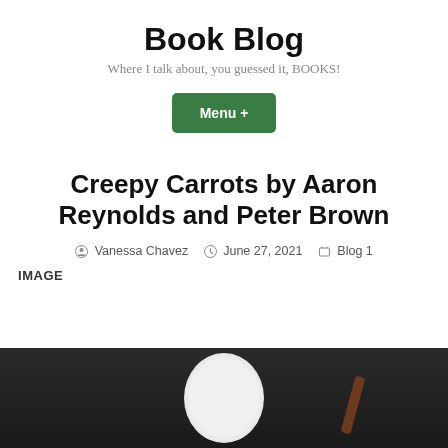Book Blog
Where I talk about, you guessed it, BOOKS!
Menu +
Creepy Carrots by Aaron Reynolds and Peter Brown
By Vanessa Chavez  June 27, 2021  Blog 1
IMAGE
[Figure (photo): Dark background photo showing a white oval shape (likely a book cover) and a brown stick/carrot on a dark surface]